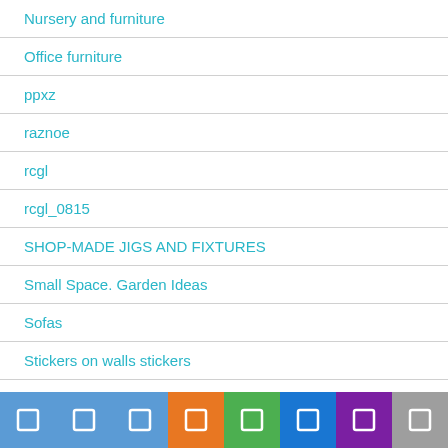Nursery and furniture
Office furniture
ppxz
raznoe
rcgl
rcgl_0815
SHOP-MADE JIGS AND FIXTURES
Small Space. Garden Ideas
Sofas
Stickers on walls stickers
STYLE IN FURNITURE
TERRACE DESIGN
The Design of Things. to Come
The Dynamic Landscape